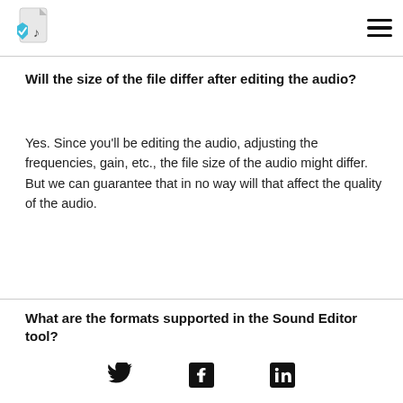[Logo: Sound Editor app icon] [Hamburger menu]
Will the size of the file differ after editing the audio?
Yes. Since you'll be editing the audio, adjusting the frequencies, gain, etc., the file size of the audio might differ. But we can guarantee that in no way will that affect the quality of the audio.
What are the formats supported in the Sound Editor tool?
[Twitter icon] [Facebook icon] [LinkedIn icon]